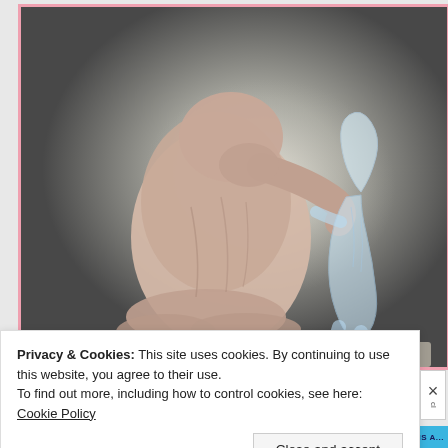[Figure (photo): A sculpture showing a large hunched adult figure kneeling with head bowed, holding hands with a smaller translucent child figure standing beside them. The adult figure appears to be made of pale stone or ceramic material with a textured surface, while the child figure appears crystalline or glass-like. Set against a gradient grey background.]
Privacy & Cookies: This site uses cookies. By continuing to use this website, you agree to their use.
To find out more, including how to control cookies, see here: Cookie Policy
Close and accept